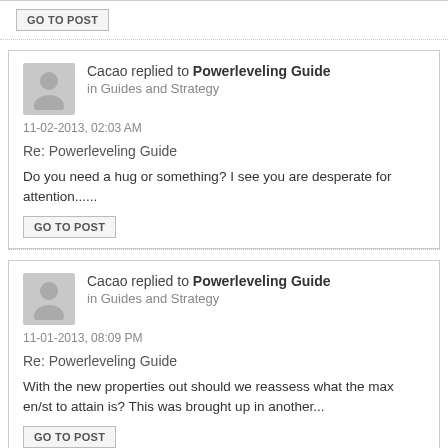GO TO POST
Cacao replied to Powerleveling Guide in Guides and Strategy
11-02-2013, 02:03 AM
Re: Powerleveling Guide
Do you need a hug or something? I see you are desperate for attention......
GO TO POST
Cacao replied to Powerleveling Guide in Guides and Strategy
11-01-2013, 08:09 PM
Re: Powerleveling Guide
With the new properties out should we reassess what the max en/st to attain is? This was brought up in another...
GO TO POST